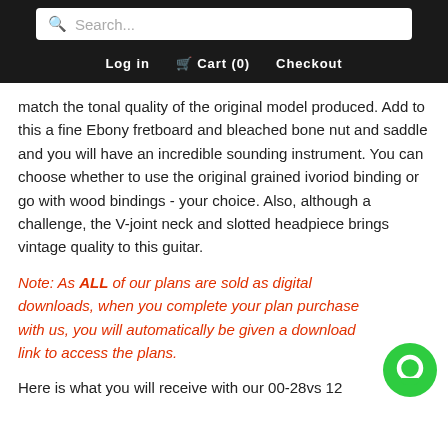Search... | Log in | Cart (0) | Checkout
match the tonal quality of the original model produced. Add to this a fine Ebony fretboard and bleached bone nut and saddle and you will have an incredible sounding instrument. You can choose whether to use the original grained ivoriod binding or go with wood bindings - your choice. Also, although a challenge, the V-joint neck and slotted headpiece brings vintage quality to this guitar.
Note: As ALL of our plans are sold as digital downloads, when you complete your plan purchase with us, you will automatically be given a download link to access the plans.
Here is what you will receive with our 00-28vs 12